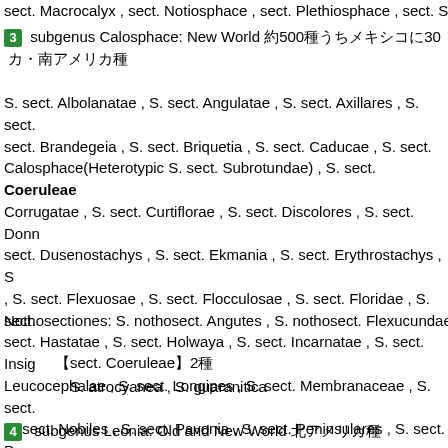sect. Macrocalyx , sect. Notiosphace , sect. Plethiosphace , sect. S…
3 subgenus Calosphace: New World 約500種うちメキシコに30… カ・南アメリカ種
S. sect. Albolanatae , S. sect. Angulatae , S. sect. Axillares , S. sect. Brandegeia , S. sect. Briquetia , S. sect. Caducae , S. sect. Calosphace(Heterotypic S. sect. Subrotundae) , S. sect. Coeruleae Corrugatae , S. sect. Curtiflorae , S. sect. Discolores , S. sect. Donn… sect. Dusenostachys , S. sect. Ekmania , S. sect. Erythrostachys , S… , S. sect. Flexuosae , S. sect. Flocculosae , S. sect. Floridae , S. sect… sect. Hastatae , S. sect. Holwaya , S. sect. Incarnatae , S. sect. Insig… Leucocephalae , S. sect. Longipes , S. sect. Membranaceae , S. sect… S. sect. Nobiles , S. sect. Pavonia , S. sect. Peninsulares , S. sect. P… sect. Potiles , S. sect. Rubescentes , S. sect. Secundae , S. sect. Sco… Sigmoideae , S. sect. Siphonantha , S. sect. Standleyana , S. sect. T… sect. Tubiflorae , S. sect. Uricae , S. sect. Wrightiana
Nothosectiones: S. nothosect. Angutes , S. nothosect. Flexucundae
【sect. Coeruleae】2種
S. atrocyanea , S. guaranitica
4 subgenus Leonia: Old and New World 北アメリカ種